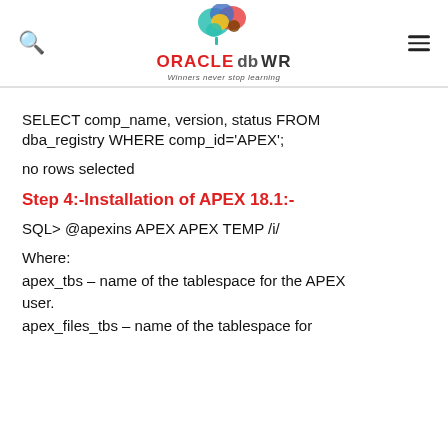ORACLE db WR — Winners never stop learning
SELECT comp_name, version, status FROM dba_registry WHERE comp_id='APEX';
no rows selected
Step 4:-Installation of APEX 18.1:-
SQL> @apexins APEX APEX TEMP /i/
Where:
apex_tbs – name of the tablespace for the APEX user.
apex_files_tbs – name of the tablespace for